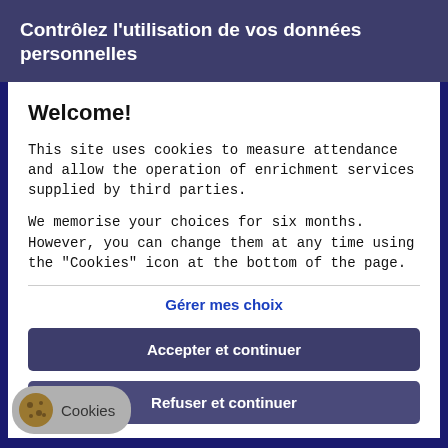Contrôlez l'utilisation de vos données personnelles
Welcome!
This site uses cookies to measure attendance and allow the operation of enrichment services supplied by third parties.
We memorise your choices for six months. However, you can change them at any time using the "Cookies" icon at the bottom of the page.
Gérer mes choix
Accepter et continuer
Refuser et continuer
Cookies